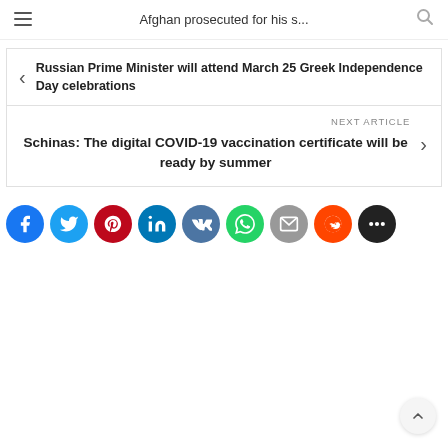Afghan prosecuted for his s...
Russian Prime Minister will attend March 25 Greek Independence Day celebrations
NEXT ARTICLE
Schinas: The digital COVID-19 vaccination certificate will be ready by summer
[Figure (infographic): Row of social media share buttons: Facebook (blue), Twitter (light blue), Pinterest (red), LinkedIn (dark blue), VK (slate blue), WhatsApp (green), Email (gray), Reddit (orange), More/Chat (black)]